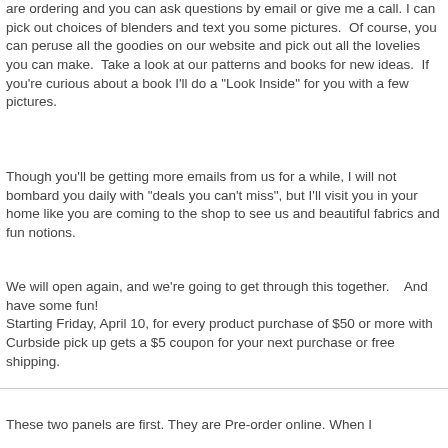are ordering and you can ask questions by email or give me a call. I can pick out choices of blenders and text you some pictures.  Of course, you can peruse all the goodies on our website and pick out all the lovelies you can make.  Take a look at our patterns and books for new ideas.  If you're curious about a book I'll do a "Look Inside" for you with a few pictures.
Though you'll be getting more emails from us for a while, I will not bombard you daily with "deals you can't miss", but I'll visit you in your home like you are coming to the shop to see us and beautiful fabrics and fun notions.
We will open again, and we're going to get through this together.    And have some fun!
Starting Friday, April 10, for every product purchase of $50 or more with Curbside pick up gets a $5 coupon for your next purchase or free shipping.
These two panels are first. They are Pre-order online. When I